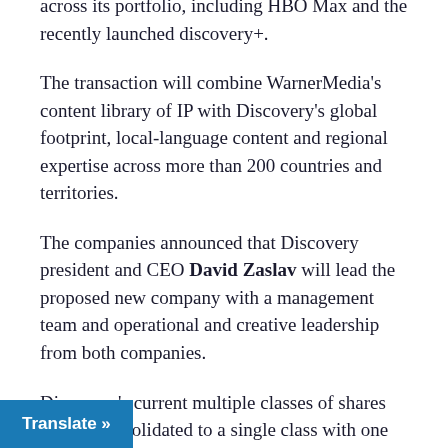across its portfolio, including HBO Max and the recently launched discovery+.
The transaction will combine WarnerMedia's content library of IP with Discovery's global footprint, local-language content and regional expertise across more than 200 countries and territories.
The companies announced that Discovery president and CEO David Zaslav will lead the proposed new company with a management team and operational and creative leadership from both companies.
Discovery's current multiple classes of shares will be consolidated to a single class with one vote per share.
The new company's board will consist of 13 members, appointed by AT&T, including the board; Discovery will initially appoint
[Figure (other): Blue 'Translate »' button overlay at bottom left of page]